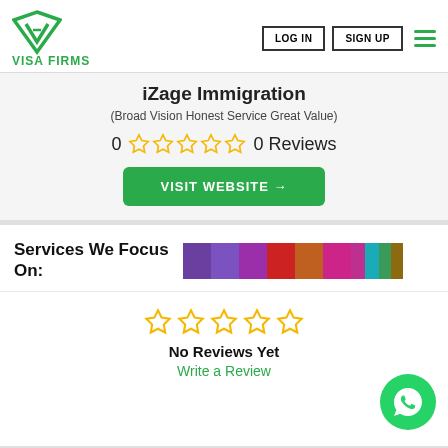VISA FIRMS | LOG IN | SIGN UP
iZage Immigration
(Broad Vision Honest Service Great Value)
0 ☆☆☆☆☆ 0 Reviews
VISIT WEBSITE →
Services We Focus On:
[Figure (infographic): Color blocks representing service categories]
☆☆☆☆☆
No Reviews Yet
Write a Review